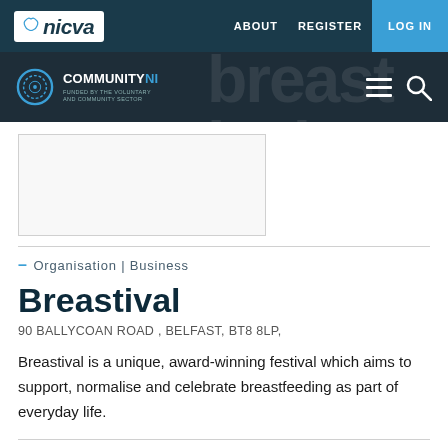nicva | ABOUT  REGISTER  LOG IN
[Figure (screenshot): Community NI logo and header bar with background text reading 'breast ival' and hamburger/search icons]
[Figure (other): Blank image/advertisement box placeholder]
– Organisation | Business
Breastival
90 BALLYCOAN ROAD , BELFAST, BT8 8LP,
Breastival is a unique, award-winning festival which aims to support, normalise and celebrate breastfeeding as part of everyday life.
NI646800